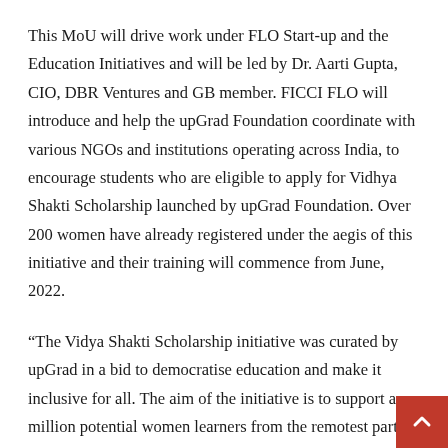This MoU will drive work under FLO Start-up and the Education Initiatives and will be led by Dr. Aarti Gupta, CIO, DBR Ventures and GB member. FICCI FLO will introduce and help the upGrad Foundation coordinate with various NGOs and institutions operating across India, to encourage students who are eligible to apply for Vidhya Shakti Scholarship launched by upGrad Foundation. Over 200 women have already registered under the aegis of this initiative and their training will commence from June, 2022.
“The Vidya Shakti Scholarship initiative was curated by upGrad in a bid to democratise education and make it inclusive for all. The aim of the initiative is to support a million potential women learners from the remotest parts of the country, starting with 15 states. The scholarship aims to upskill over 15,000 women candidates over the next 3 years, with its courses that will be offered under both 100 per cent and up to 70 per cent fee waiver categories. For the first